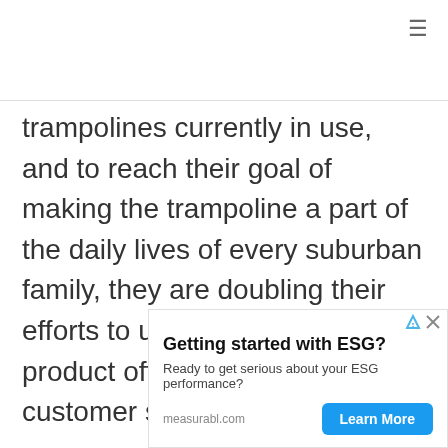≡
trampolines currently in use, and to reach their goal of making the trampoline a part of the daily lives of every suburban family, they are doubling their efforts to upgrade both their product offering and their customer service.

Everything they sell is TUV certified and
[Figure (other): Advertisement banner for measurabl.com with headline 'Getting started with ESG?', subtext 'Ready to get serious about your ESG performance?', domain label 'measurabl.com', and a blue 'Learn More' button. Top-right shows small ad indicator icons.]